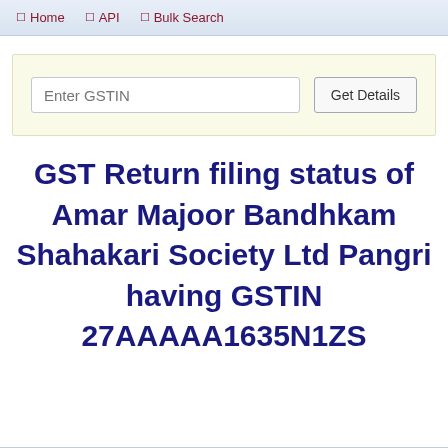Home  API  Bulk Search
Enter GSTIN  Get Details
GST Return filing status of Amar Majoor Bandhkam Shahakari Society Ltd Pangri having GSTIN 27AAAAA1635N1ZS